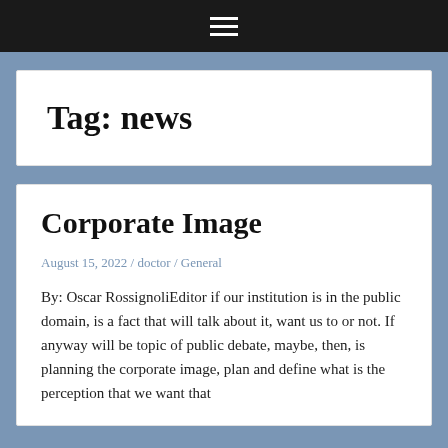≡
Tag: news
Corporate Image
August 15, 2022 / doctor / General
By: Oscar RossignoliEditor if our institution is in the public domain, is a fact that will talk about it, want us to or not. If anyway will be topic of public debate, maybe, then, is planning the corporate image, plan and define what is the perception that we want that